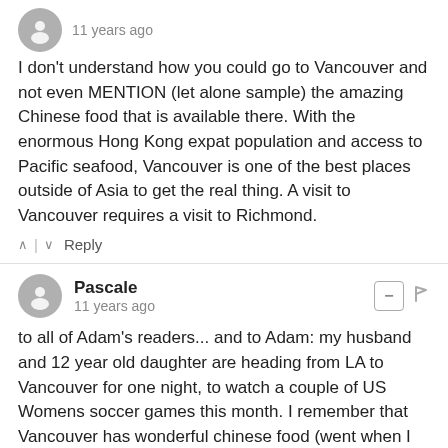[Figure (illustration): Grey user avatar icon circle]
11 years ago
I don't understand how you could go to Vancouver and not even MENTION (let alone sample) the amazing Chinese food that is available there. With the enormous Hong Kong expat population and access to Pacific seafood, Vancouver is one of the best places outside of Asia to get the real thing. A visit to Vancouver requires a visit to Richmond.
^ | v  Reply
Pascale
11 years ago
to all of Adam's readers... and to Adam: my husband and 12 year old daughter are heading from LA to Vancouver for one night, to watch a couple of US Womens soccer games this month. I remember that Vancouver has wonderful chinese food (went when I was 17 on the way to Whistler mountain). Do any of you have any EXCELLENT chinese restaurant suggestions? For that matter, any other restaurant suggestions? My daughter is a 12 year old gourmande... and would appreciate good dining (Prune, in NY, is one of her favorites). Thanks in advance for any suggestions!!!
^ | v  Reply